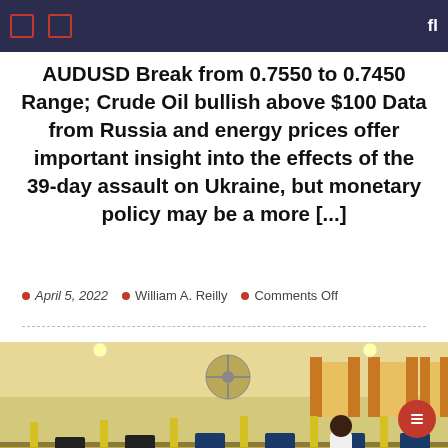AUDUSD Break from 0.7550 to 0.7450 Range; Crude Oil bullish above $100 Data from Russia and energy prices offer important insight into the effects of the 39-day assault on Ukraine, but monetary policy may be a more [...]
April 5, 2022   William A. Reilly   Comments Off
[Figure (photo): A large computer lab with rows of yellow partitioned desks, many people (students/candidates) seated at computers taking what appears to be an exam or test. The room has a yellow-painted interior with windows showing curtains. An invigilator stands at the back.]